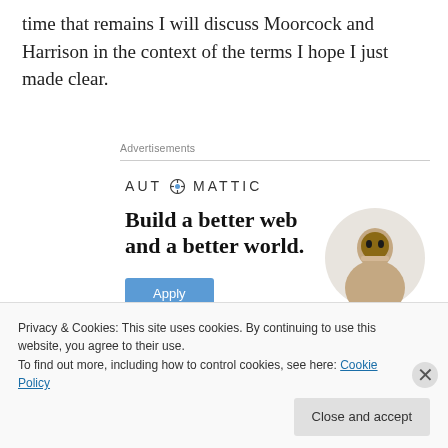time that remains I will discuss Moorcock and Harrison in the context of the terms I hope I just made clear.
Advertisements
[Figure (logo): Automattic logo with compass-style O symbol, followed by bold advertisement text: Build a better web and a better world. Apply button in blue.]
Privacy & Cookies: This site uses cookies. By continuing to use this website, you agree to their use.
To find out more, including how to control cookies, see here: Cookie Policy